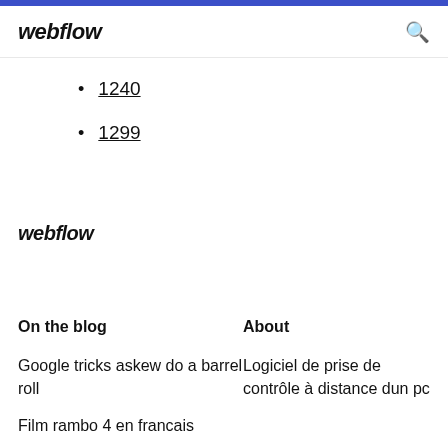webflow
1240
1299
webflow
On the blog
About
Google tricks askew do a barrel roll
Logiciel de prise de contrôle à distance dun pc
Film rambo 4 en francais